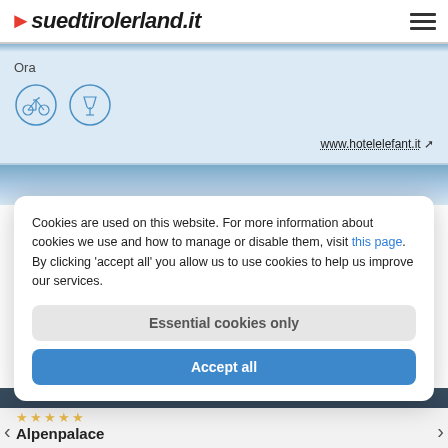suedtirolerland.it
Ora
[Figure (illustration): Two circular icons: a bicycle icon and a wine glass icon, both outlined in blue on light blue background]
www.hotelelefant.it
[Figure (photo): Blue gradient band section, part of a hotel listing page]
Cookies are used on this website. For more information about cookies we use and how to manage or disable them, visit this page. By clicking 'accept all' you allow us to use cookies to help us improve our services.
Essential cookies only
Accept all
Hotel
Alpenpalace